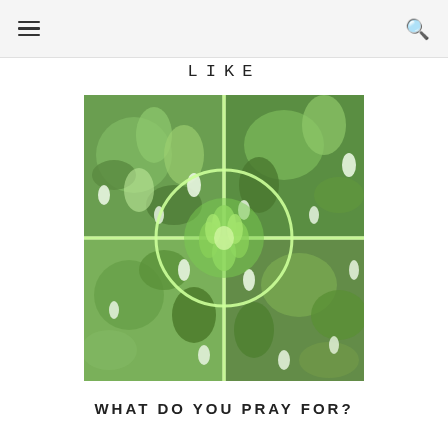navigation header with hamburger menu and search icon
LIKE
[Figure (photo): A 2x2 grid photo collage of green flowering plants (hosta or similar), with a light green crosshair and circle overlay highlighting the central close-up flower bud in the middle]
WHAT DO YOU PRAY FOR?